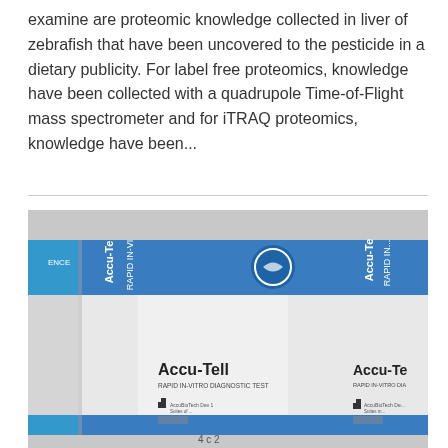examine are proteomic knowledge collected in liver of zebrafish that have been uncovered to the pesticide in a dietary publicity. For label free proteomics, knowledge have been collected with a quadrupole Time-of-Flight mass spectrometer and for iTRAQ proteomics, knowledge have been...
[Figure (photo): Photo of Accu-Tell rapid in-vitro diagnostic test boxes. The boxes are white and blue, showing the brand name 'Accu-Tell' and subtitle 'RAPID IN-VITRO DIAGNOSTIC TEST' with a logo. Multiple boxes are visible, partially cut off at the edges.]